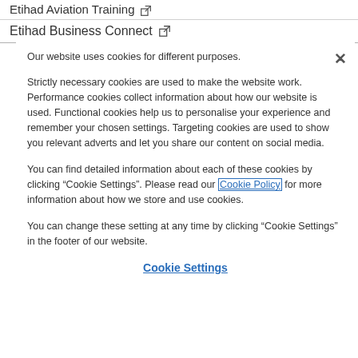Etihad Aviation Training [external link]
Etihad Business Connect [external link]
Our website uses cookies for different purposes.
Strictly necessary cookies are used to make the website work. Performance cookies collect information about how our website is used. Functional cookies help us to personalise your experience and remember your chosen settings. Targeting cookies are used to show you relevant adverts and let you share our content on social media.
You can find detailed information about each of these cookies by clicking “Cookie Settings”. Please read our Cookie Policy for more information about how we store and use cookies.
You can change these setting at any time by clicking “Cookie Settings” in the footer of our website.
Cookie Settings